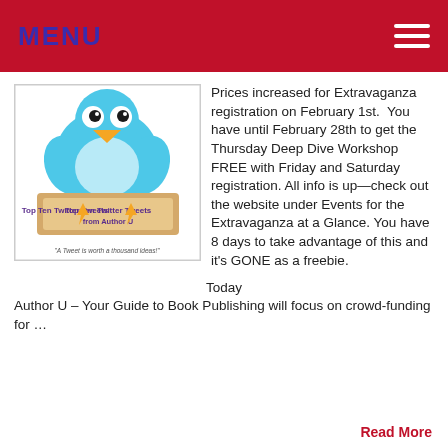MENU
[Figure (illustration): Blue Twitter bird cartoon holding a sign reading 'Top Ten Twitter Tweets from Author U' with caption 'A Tweet is worth a thousand ideas!']
Prices increased for Extravaganza registration on February 1st.  You have until February 28th to get the Thursday Deep Dive Workshop FREE with Friday and Saturday registration. All info is up—check out the website under Events for the Extravaganza at a Glance. You have 8 days to take advantage of this and it's GONE as a freebie.
Today
Author U – Your Guide to Book Publishing will focus on crowd-funding for …
Read More